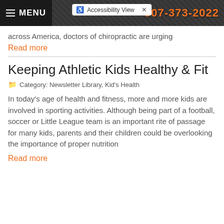MENU | Accessibility View | 907-373-2022
across America, doctors of chiropractic are urging
Read more
Keeping Athletic Kids Healthy & Fit
Category: Newsletter Library, Kid's Health
In today's age of health and fitness, more and more kids are involved in sporting activities. Although being part of a football, soccer or Little League team is an important rite of passage for many kids, parents and their children could be overlooking the importance of proper nutrition
Read more